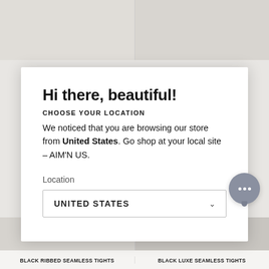[Figure (screenshot): Top background showing two product image panels side by side (clothing/tights on beige background)]
Hi there, beautiful!
CHOOSE YOUR LOCATION
We noticed that you are browsing our store from United States. Go shop at your local site – AIM'N US.
Location
UNITED STATES
[Figure (screenshot): Bottom background showing two product image panels and labels: BLACK RIBBED SEAMLESS TIGHTS and BLACK LUXE SEAMLESS TIGHTS]